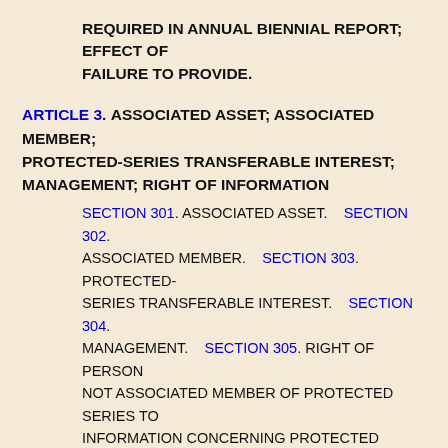REQUIRED IN ANNUAL BIENNIAL REPORT; EFFECT OF FAILURE TO PROVIDE.
ARTICLE 3. ASSOCIATED ASSET; ASSOCIATED MEMBER; PROTECTED-SERIES TRANSFERABLE INTEREST; MANAGEMENT; RIGHT OF INFORMATION
SECTION 301. ASSOCIATED ASSET.    SECTION 302. ASSOCIATED MEMBER.    SECTION 303. PROTECTED-SERIES TRANSFERABLE INTEREST.    SECTION 304. MANAGEMENT.    SECTION 305. RIGHT OF PERSON NOT ASSOCIATED MEMBER OF PROTECTED SERIES TO INFORMATION CONCERNING PROTECTED SERIES.
ARTICLE 4. LIMITATION ON LIABILITY AND ENFORCEMENT OF CLAIMS
SECTION 401. LIMITATIONS ON LIABILITY.    SECTION